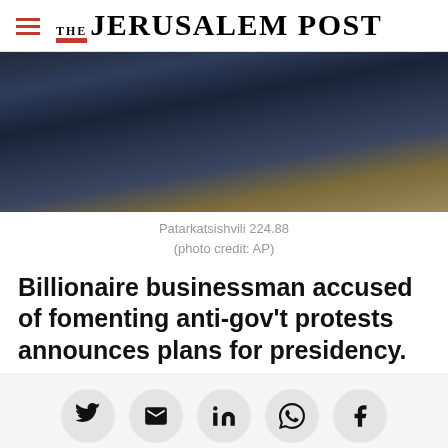THE JERUSALEM POST
[Figure (photo): Photo of a man in a dark suit seated, with ornate gold decoration visible on either side]
Patarkatsishvili 224.88
(photo credit: AP)
Billionaire businessman accused of fomenting anti-gov't protests announces plans for presidency.
[Figure (infographic): Social sharing icons: Twitter, Email, LinkedIn, WhatsApp, Facebook]
Advertisement